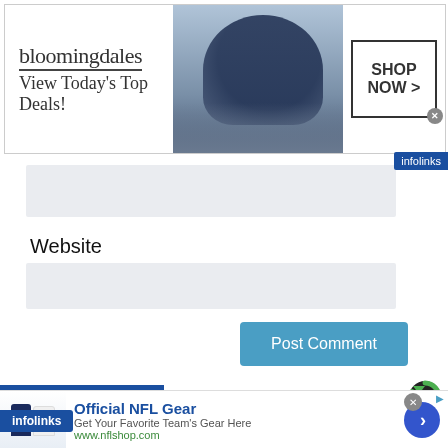[Figure (screenshot): Bloomingdale's advertisement banner: 'View Today's Top Deals!' with woman in hat and 'SHOP NOW >' button]
Website
[Figure (screenshot): Website text input field (gray background)]
[Figure (screenshot): Post Comment button (blue)]
AROUND THE WEB
[Figure (screenshot): Sky/clouds image band below AROUND THE WEB heading]
[Figure (screenshot): Official NFL Gear advertisement: 'Get Your Favorite Team's Gear Here', www.nflshop.com, with NFL jerseys image and blue circle arrow button]